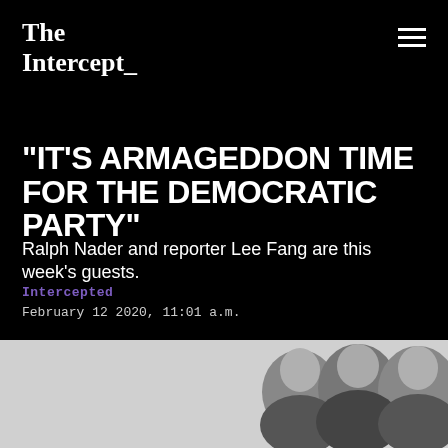The Intercept_
“IT’S ARMAGEDDON TIME FOR THE DEMOCRATIC PARTY”
Ralph Nader and reporter Lee Fang are this week’s guests.
Intercepted
February 12 2020, 11:01 a.m.
[Figure (photo): Black and white photo of three politicians, partially visible, including a woman on the left and two men.]